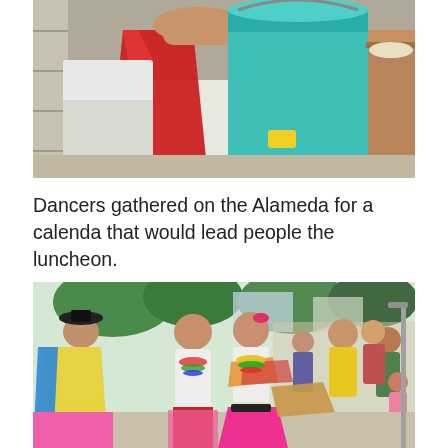[Figure (photo): A person wearing a white shirt and red apron working with food preparation equipment; a large teal/turquoise plastic bucket is prominently visible in the center, and a brown wooden tub is on the right.]
Dancers gathered on the Alameda for a calenda that would lead people the luncheon.
[Figure (photo): Traditional Mexican dancers in colorful costumes (pink, yellow, white skirts with beaded necklaces) gathered on the Alameda. A man in a black hat is on the left. A crowd of people watches in the background among trees.]